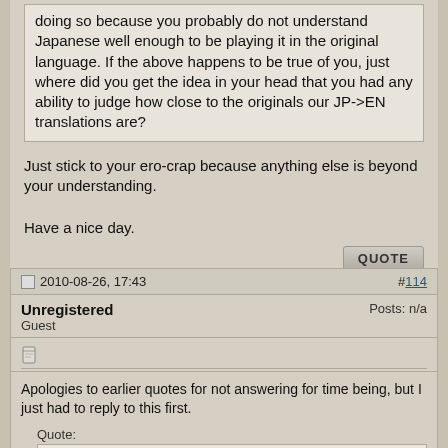doing so because you probably do not understand Japanese well enough to be playing it in the original language. If the above happens to be true of you, just where did you get the idea in your head that you had any ability to judge how close to the originals our JP->EN translations are?
Just stick to your ero-crap because anything else is beyond your understanding.
Have a nice day.
2010-08-26, 17:43
#114
Unregistered
Guest
Posts: n/a
Apologies to earlier quotes for not answering for time being, but I just had to reply to this first.
Quote:
Originally Posted by Unregistered
The great translators have no need of "community." This is because the truly great translators are not translating for you the